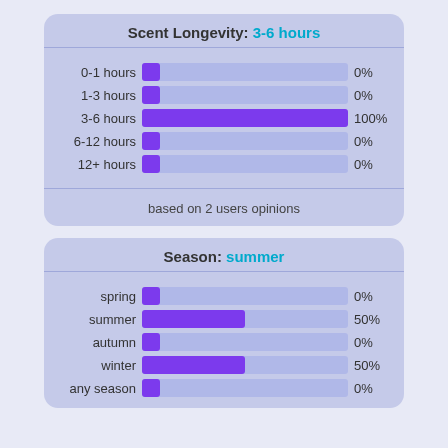[Figure (bar-chart): Scent Longevity: 3-6 hours]
based on 2 users opinions
[Figure (bar-chart): Season: summer]